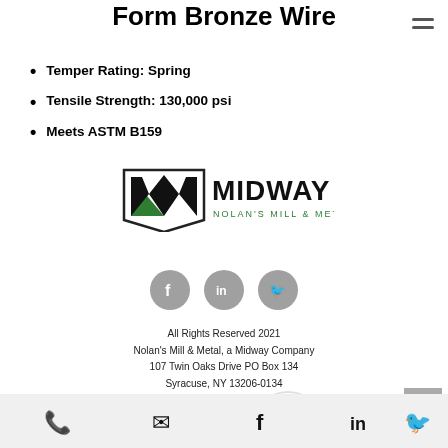Form Bronze Wire
Temper Rating: Spring
Tensile Strength: 130,000 psi
Meets ASTM B159
[Figure (logo): Midway Nolan's Mill & Metal logo with green and black M graphic]
[Figure (infographic): Social media icons: Facebook, LinkedIn, Twitter in grey circles]
All Rights Reserved 2021
Nolan's Mill & Metal, a Midway Company
107 Twin Oaks Drive PO Box 134
Syracuse, NY 13206-0134
[Figure (infographic): Payment method logos: VISA, Mastercard, American Express, Discover; and a Review us on Google badge]
[Figure (infographic): Bottom navigation bar with phone, email, Facebook, LinkedIn, Twitter icons]